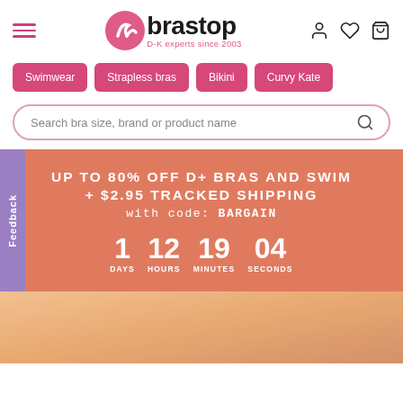[Figure (logo): Brastop logo with pink swirl icon and text 'brastop D-K experts since 2003']
Swimwear
Strapless bras
Bikini
Curvy Kate
Search bra size, brand or product name
UP TO 80% OFF D+ BRAS AND SWIM + $2.95 TRACKED SHIPPING with code: BARGAIN
1 DAYS 12 HOURS 19 MINUTES 04 SECONDS
[Figure (photo): Partial photo of a person wearing a bikini bottom, skin-toned warm background]